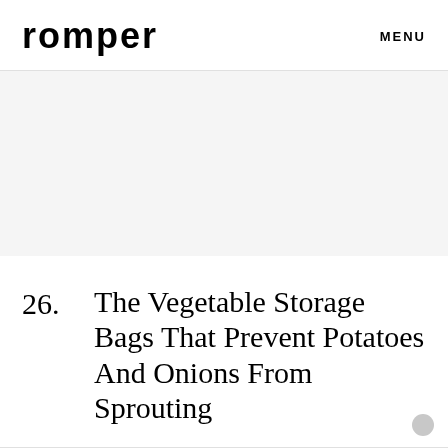romper  MENU
[Figure (other): Light gray rectangular image placeholder area]
26.  The Vegetable Storage Bags That Prevent Potatoes And Onions From Sprouting